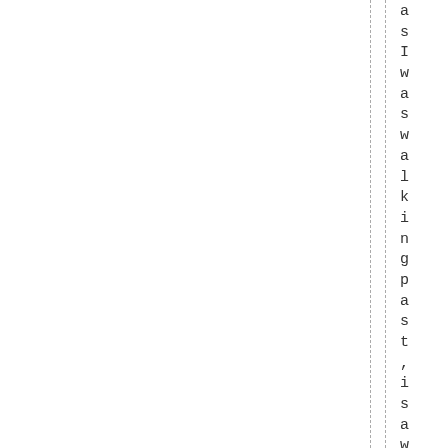a
s
I
w
a
s
w
a
l
k
i
n
g
p
a
s
t
,
i
s
a
w
t
h
a
t
t
h